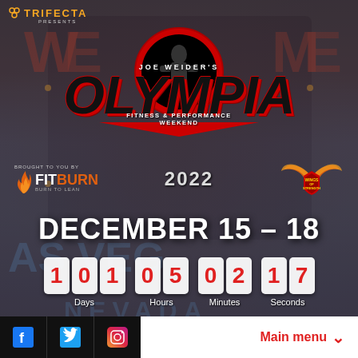[Figure (logo): Trifecta presents Joe Weider's Olympia Fitness & Performance Weekend 2022 event poster over Las Vegas sign background. Includes FitBurn and Wings of Strength sponsor logos.]
TRIFECTA PRESENTS
JOE WEIDER'S OLYMPIA FITNESS & PERFORMANCE WEEKEND
2022
BROUGHT TO YOU BY FIT BURN
WINGS OF STRENGTH
DECEMBER 15 – 18
101 Days  05 Hours  02 Minutes  17 Seconds
Main menu